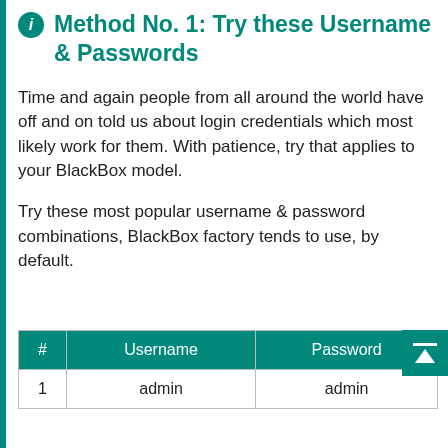Method No. 1: Try these Username & Passwords
Time and again people from all around the world have off and on told us about login credentials which most likely work for them. With patience, try that applies to your BlackBox model.
Try these most popular username & password combinations, BlackBox factory tends to use, by default.
| # | Username | Password |
| --- | --- | --- |
| 1 | admin | admin |